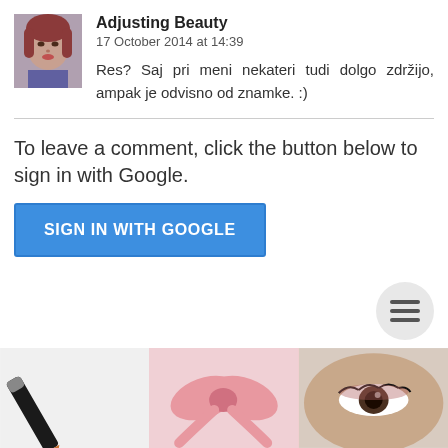[Figure (photo): Small circular avatar photo of a woman with red hair]
Adjusting Beauty
17 October 2014 at 14:39
Res? Saj pri meni nekateri tudi dolgo zdržijo, ampak je odvisno od znamke. :)
To leave a comment, click the button below to sign in with Google.
SIGN IN WITH GOOGLE
[Figure (photo): Three images at the bottom: a makeup pencil on white background, pink satin ribbon tied in a bow, and a woman's eye with makeup]
[Figure (other): Hamburger menu button icon, circular gray background]